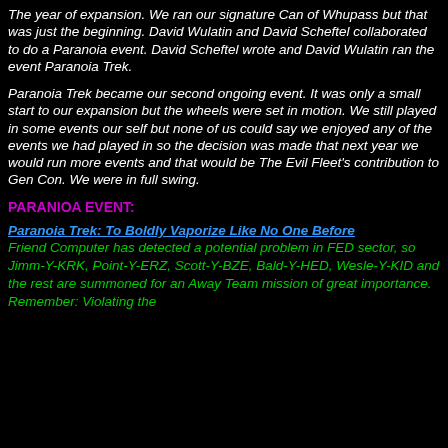The year of expansion. We ran our signature Can of Whupass but that was just the beginning. David Wulatin and David Scheftel collaborated to do a Paranoia event. David Scheftel wrote and David Wulatin ran the event Paranoia Trek.
Paranoia Trek became our second ongoing event. It was only a small start to our expansion but the wheels were set in motion. We still played in some events our self but none of us could say we enjoyed any of the events we had played in so the decision was made that next year we would run more events and that would be The Evil Fleet's contribution to Gen Con. We were in full swing.
PARANIOA EVENT:
Paranoia Trek: To Boldly Vaporize Like No One Before Friend Computer has detected a potential problem in FED sector, so Jimm-Y-KRK, Point-Y-ERZ, Scott-Y-BZE, Bald-Y-HED, Wesle-Y-KID and the rest are summoned for an Away Team mission of great importance. Remember: Violating the